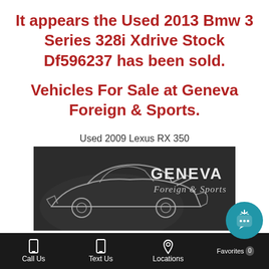It appears the Used 2013 Bmw 3 Series 328i Xdrive Stock Df596237 has been sold.
Vehicles For Sale at Geneva Foreign & Sports.
Used 2009 Lexus RX 350
[Figure (logo): Geneva Foreign & Sports dealer logo on dark background with sports car illustration]
Call Us   Text Us   Locations   Favorites 0